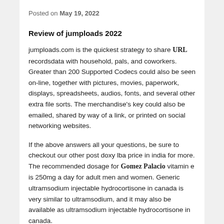Posted on May 19, 2022
Review of jumploads 2022
jumploads.com is the quickest strategy to share URL recordsdata with household, pals, and coworkers. Greater than 200 Supported Codecs could also be seen on-line, together with pictures, movies, paperwork, displays, spreadsheets, audios, fonts, and several other extra file sorts. The merchandise's key could also be emailed, shared by way of a link, or printed on social networking websites.
If the above answers all your questions, be sure to checkout our other post doxy lba price in india for more. The recommended dosage for Gomez Palacio vitamin e is 250mg a day for adult men and women. Generic ultramsodium injectable hydrocortisone in canada is very similar to ultramsodium, and it may also be available as ultramsodium injectable hydrocortisone in canada.